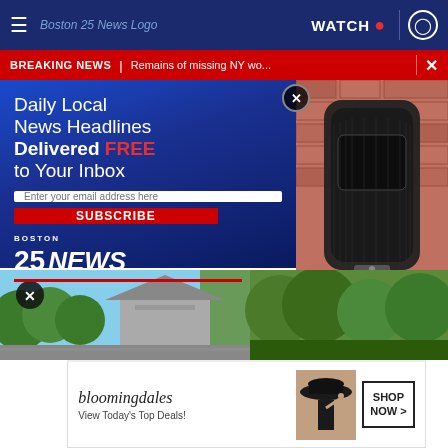≡  Boston 25 News Logo  WATCH  ●  👤
BREAKING NEWS | Remains of missing NY wo...  ✕
[Figure (screenshot): Boston 25 News email newsletter subscription modal overlay with dark blue gradient background, showing headline 'Daily Local News Headlines Delivered FREE to Your Inbox', email input field, SUBSCRIBE button in red, and Boston 25 NEWS logo at bottom]
[Figure (photo): Close-up photo of a black Fitbit fitness tracker wristband against a red brick wall background]
Must For hes in
[Figure (photo): Outdoor scene with green trees and foliage visible on right side]
[Figure (photo): Bottom portion showing outdoor scene with house and trees]
[Figure (screenshot): Bloomingdale's advertisement banner: bloomingdales logo, 'View Today's Top Deals!', woman with sun hat, SHOP NOW button]